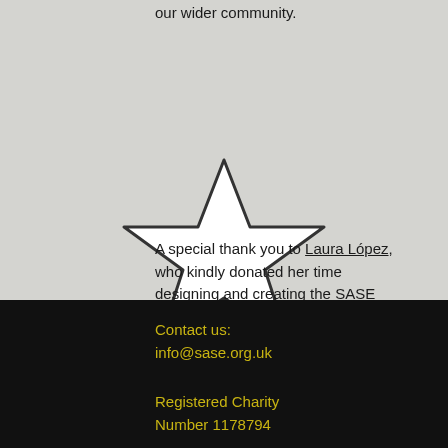our wider community.
[Figure (illustration): A large outlined star shape (white fill, dark outline) centered on a light grey background.]
A special thank you to Laura López, who kindly donated her time designing and creating the SASE logo
Contact us:
info@sase.org.uk

Registered Charity Number 1178794